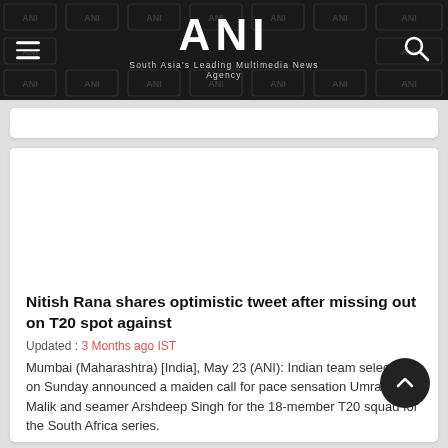ANI — South Asia's Leading Multimedia News Agency
Nitish Rana shares optimistic tweet after missing out on T20 spot against
Updated : 3 Months ago IST
Mumbai (Maharashtra) [India], May 23 (ANI): Indian team selectors on Sunday announced a maiden call for pace sensation Umran Malik and seamer Arshdeep Singh for the 18-member T20 squad for the South Africa series.
Read More